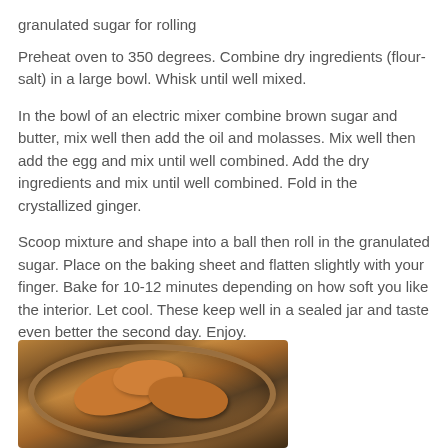granulated sugar for rolling
Preheat oven to 350 degrees. Combine dry ingredients (flour-salt) in a large bowl. Whisk until well mixed.
In the bowl of an electric mixer combine brown sugar and butter, mix well then add the oil and molasses. Mix well then add the egg and mix until well combined. Add the dry ingredients and mix until well combined. Fold in the crystallized ginger.
Scoop mixture and shape into a ball then roll in the granulated sugar. Place on the baking sheet and flatten slightly with your finger. Bake for 10-12 minutes depending on how soft you like the interior. Let cool. These keep well in a sealed jar and taste even better the second day. Enjoy.
[Figure (photo): Photo of ginger cookies in a round bowl or jar, viewed from above, on a dark surface.]